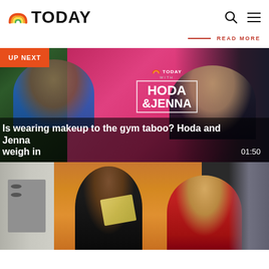TODAY
READ MORE
[Figure (screenshot): Video thumbnail showing Hoda and Jenna on the Today with Hoda & Jenna set, with an UP NEXT badge and title overlay: Is wearing makeup to the gym taboo? Hoda and Jenna weigh in. Duration: 01:50]
[Figure (screenshot): Video thumbnail showing two women in a kitchen setting, one with dark hair and one with blonde hair wearing a red top]